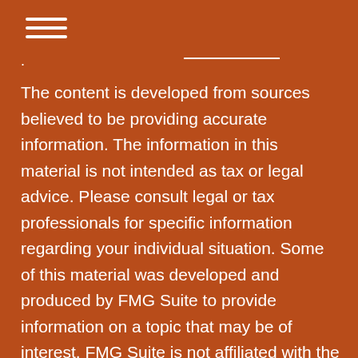[Figure (other): Hamburger menu icon with three horizontal white lines]
. ___________
The content is developed from sources believed to be providing accurate information. The information in this material is not intended as tax or legal advice. Please consult legal or tax professionals for specific information regarding your individual situation. Some of this material was developed and produced by FMG Suite to provide information on a topic that may be of interest. FMG Suite is not affiliated with the named representative, broker - dealer, state - or SEC - registered investment advisory firm. The opinions expressed and material provided are for general information, and should not be considered a solicitation for the purchase or sale of any security.